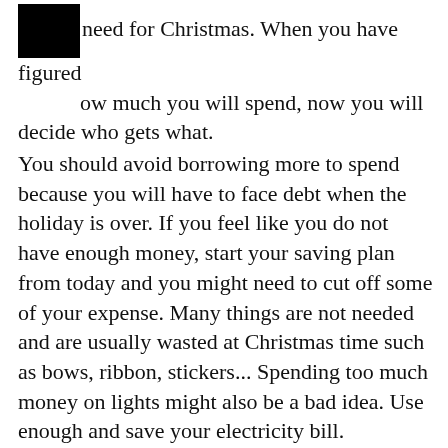you need for Christmas. When you have figured how much you will spend, now you will decide who gets what. You should avoid borrowing more to spend because you will have to face debt when the holiday is over. If you feel like you do not have enough money, start your saving plan from today and you might need to cut off some of your expense. Many things are not needed and are usually wasted at Christmas time such as bows, ribbon, stickers... Spending too much money on lights might also be a bad idea. Use enough and save your electricity bill. To start your saving plan, you can use Excel, write down on your notebook or simply just download Money Lover on your phone to keep track of your plan.